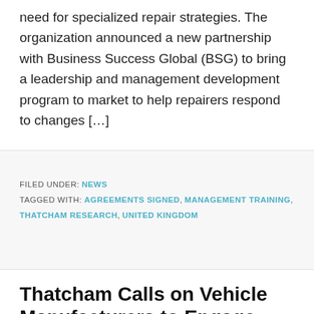need for specialized repair strategies. The organization announced a new partnership with Business Success Global (BSG) to bring a leadership and management development program to market to help repairers respond to changes […]
FILED UNDER: NEWS
TAGGED WITH: AGREEMENTS SIGNED, MANAGEMENT TRAINING, THATCHAM RESEARCH, UNITED KINGDOM
Thatcham Calls on Vehicle Manufacturers to Engage with Repair Industry to Address "Spiraling Cost of...